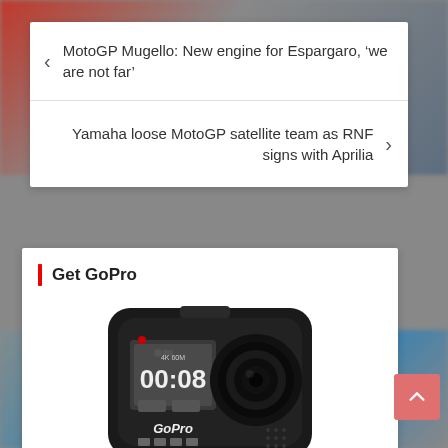MotoGP Mugello: New engine for Espargaro, ‘we are not far’
Yamaha loose MotoGP satellite team as RNF signs with Aprilia
Get GoPro
[Figure (photo): GoPro Hero8 action camera, black, showing front screen with 00:08 timer and 4K 60fps mode indicator]
Make your Flow come alive! Get GoPro Hero8